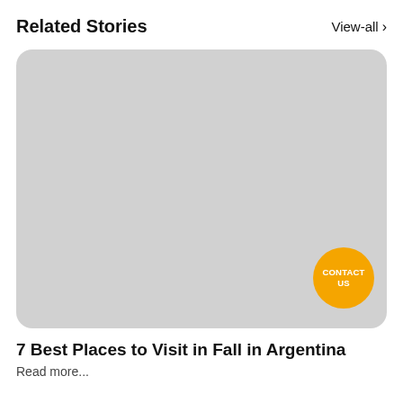Related Stories
View-all >
[Figure (photo): Large rounded card with light gray placeholder image. An orange circular badge with 'CONTACT US' text is overlaid in the bottom-right area of the image.]
7 Best Places to Visit in Fall in Argentina
Read more...